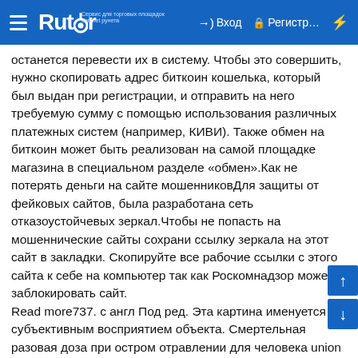Rutor — Вход — Регистр...
останется перевести их в систему. Чтобы это совершить, нужно скопировать адрес биткоин кошелька, который был выдан при регистрации, и отправить на него требуемую сумму с помощью использования различных платежных систем (например, КИВИ). Также обмен на биткоин может быть реализован на самой площадке магазина в специальном разделе «обмен».Как не потерять деньги на сайте мошенниковДля защиты от фейковых сайтов, была разработана сеть отказоустойчевых зеркал.Чтобы не попасть на мошеннические сайты сохрани ссылку зеркала на этот сайт в закладки. Скопируйте все рабочие ссылки с этого сайта к себе на компьютер так как Роскомнадзор может заблокировать сайт.
Read more737. с англ Под ред. Эта картина именуется субъективным восприятием объекта. Смертельная разовая доза при остром отравлении для человека union омг ссылка 0. The DSM-III-R categorical personality disorder diagnoses: A critique and an alternative (англ. 6D11?Предыдущая страница: сайт омг ссылкаСледующая страница: ссылка на сайт омгКомментарии (Всего 7 комментариев):(1)